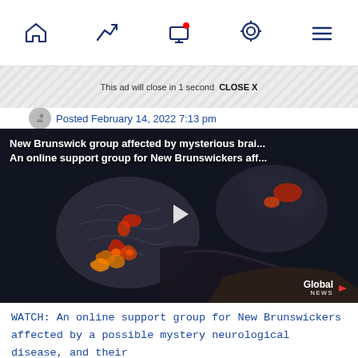Navigation bar with home, trending, screen, location, and menu icons
This ad will close in 1 second  CLOSE X
Posted February 14, 2022 7:13 pm
[Figure (screenshot): Video player showing brain MRI scan with red highlighted areas. Title overlay reads: 'New Brunswick group affected by mysterious brai... An online support group for New Brunswickers aff...' Global News logo in bottom right corner. Play button in center.]
WATCH: An online support group for New Brunswickers affected by a possible mystery neurological disease, and their